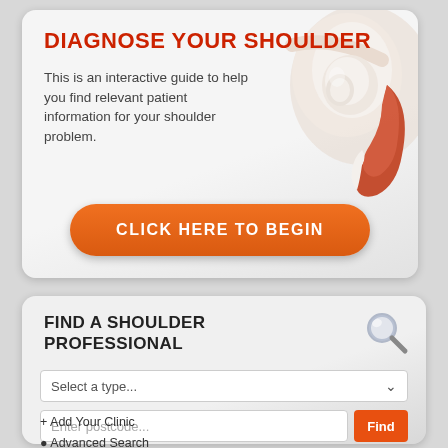DIAGNOSE YOUR SHOULDER
This is an interactive guide to help you find relevant patient information for your shoulder problem.
[Figure (illustration): 3D anatomical illustration of a human shoulder joint showing muscles and tendons]
CLICK HERE TO BEGIN
FIND A SHOULDER PROFESSIONAL
[Figure (other): Magnifying glass / search icon]
Select a type...
Enter postcode...
Find
+ Add Your Clinic
Q Advanced Search